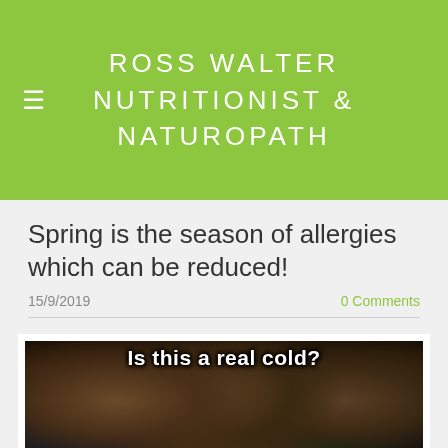ROSS WALTER NUTRITIONIST & NATUROPATH
Spring is the season of allergies which can be reduced!
15/9/2019
0 Comments
[Figure (photo): Meme image featuring the band Queen with text overlaid: 'Is this a real cold?' at the top and 'Is this just allergies?' at the bottom.]